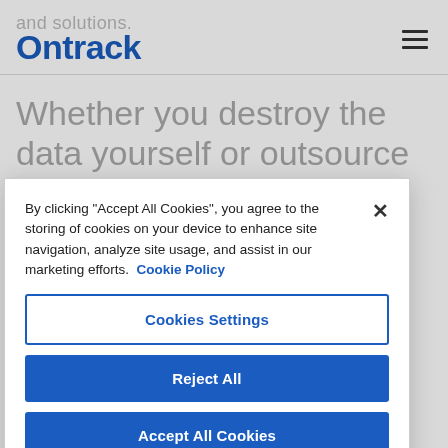and solutions. Ontrack
Whether you destroy the data yourself or outsource it to a third-party, Ontrack has the right
By clicking "Accept All Cookies", you agree to the storing of cookies on your device to enhance site navigation, analyze site usage, and assist in our marketing efforts. Cookie Policy
Cookies Settings
Reject All
Accept All Cookies